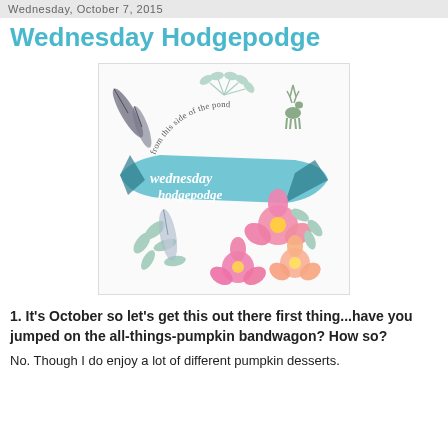Wednesday, October 7, 2015
Wednesday Hodgepodge
[Figure (illustration): Watercolor wreath illustration with floral elements, feathers, a deer, and teal ribbon banner reading 'wednesday hodgepodge' with text 'from this side of the pond' arched above]
1. It's October so let's get this out there first thing...have you jumped on the all-things-pumpkin bandwagon? How so?
No. Though I do enjoy a lot of different pumpkin desserts. This season I have a Pumpkin Pie on my to-do list.